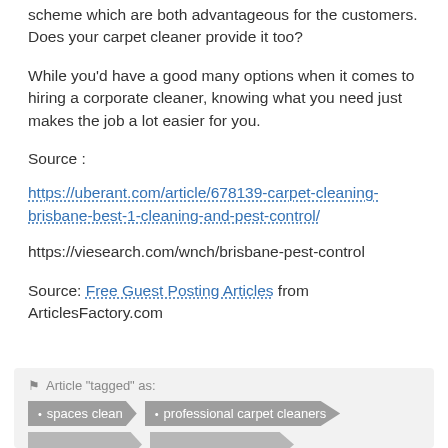scheme which are both advantageous for the customers. Does your carpet cleaner provide it too?
While you'd have a good many options when it comes to hiring a corporate cleaner, knowing what you need just makes the job a lot easier for you.
Source :
https://uberant.com/article/678139-carpet-cleaning-brisbane-best-1-cleaning-and-pest-control/
https://viesearch.com/wnch/brisbane-pest-control
Source: Free Guest Posting Articles from ArticlesFactory.com
Article "tagged" as:
• spaces clean
• professional carpet cleaners